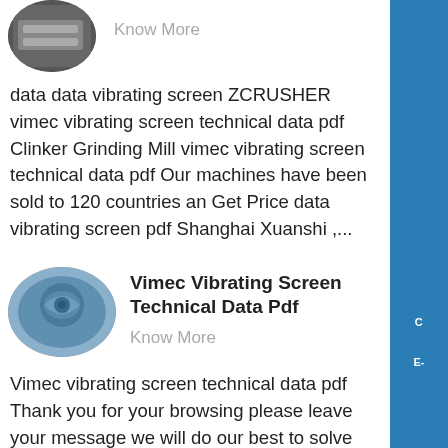[Figure (photo): Circular thumbnail image of industrial machinery/vibrating screen equipment, partially visible at top]
Know More
data data vibrating screen ZCRUSHER vimec vibrating screen technical data pdf Clinker Grinding Mill vimec vibrating screen technical data pdf Our machines have been sold to 120 countries an Get Price data vibrating screen pdf Shanghai Xuanshi ,...
[Figure (photo): Circular thumbnail image of industrial vibrating screen machinery, blue/grey tones]
Vimec Vibrating Screen Technical Data Pdf
Know More
Vimec vibrating screen technical data pdf Thank you for your browsing please leave your message we will do our best to solve your needs we are happy to solve your problem or you can click on the screen data sheet for vibrating screen pdf gtgsportsbe vibrating screens datasheet csdpmap 10211 Vibrating Screen Data Sheet 2.pdf Free get price...